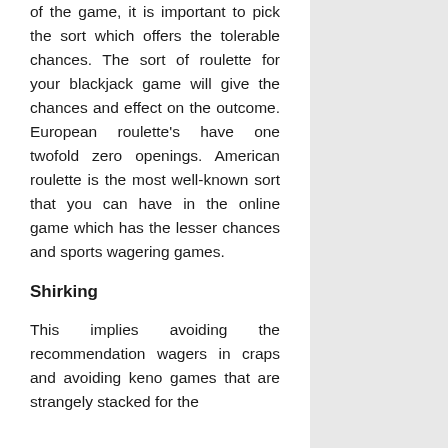of the game, it is important to pick the sort which offers the tolerable chances. The sort of roulette for your blackjack game will give the chances and effect on the outcome. European roulette's have one twofold zero openings. American roulette is the most well-known sort that you can have in the online game which has the lesser chances and sports wagering games.
Shirking
This implies avoiding the recommendation wagers in craps and avoiding keno games that are strangely stacked for the